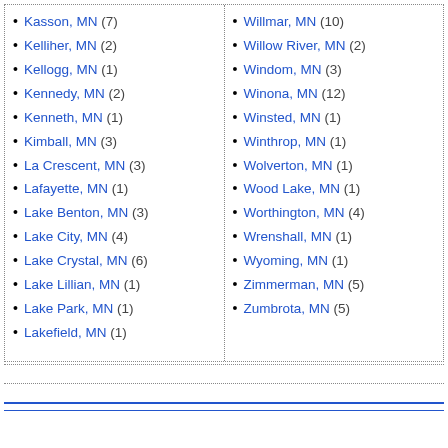Kasson, MN (7)
Kelliher, MN (2)
Kellogg, MN (1)
Kennedy, MN (2)
Kenneth, MN (1)
Kimball, MN (3)
La Crescent, MN (3)
Lafayette, MN (1)
Lake Benton, MN (3)
Lake City, MN (4)
Lake Crystal, MN (6)
Lake Lillian, MN (1)
Lake Park, MN (1)
Lakefield, MN (1)
Willmar, MN (10)
Willow River, MN (2)
Windom, MN (3)
Winona, MN (12)
Winsted, MN (1)
Winthrop, MN (1)
Wolverton, MN (1)
Wood Lake, MN (1)
Worthington, MN (4)
Wrenshall, MN (1)
Wyoming, MN (1)
Zimmerman, MN (5)
Zumbrota, MN (5)